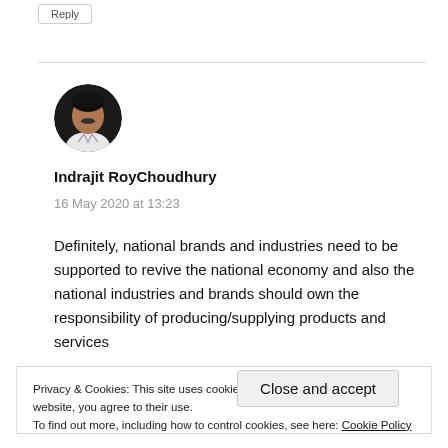Reply
[Figure (photo): Circular avatar photo of Indrajit RoyChoudhury, a man in a white shirt against a dark background]
Indrajit RoyChoudhury
16 May 2020 at 13:23
Definitely, national brands and industries need to be supported to revive the national economy and also the national industries and brands should own the responsibility of producing/supplying products and services
Privacy & Cookies: This site uses cookies. By continuing to use this website, you agree to their use.
To find out more, including how to control cookies, see here: Cookie Policy
Close and accept